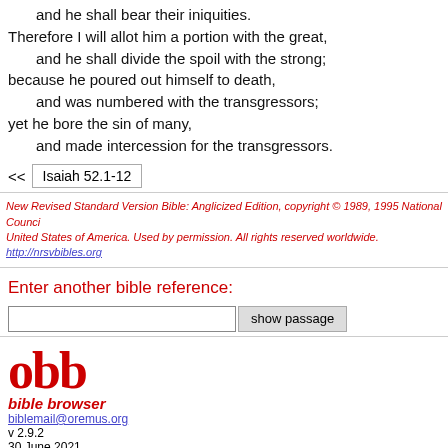and he shall bear their iniquities.
Therefore I will allot him a portion with the great,
    and he shall divide the spoil with the strong;
because he poured out himself to death,
    and was numbered with the transgressors;
yet he bore the sin of many,
    and made intercession for the transgressors.
<< Isaiah 52.1-12
New Revised Standard Version Bible: Anglicized Edition, copyright © 1989, 1995 National Council United States of America. Used by permission. All rights reserved worldwide. http://nrsvbibles.org
Enter another bible reference:
[input field] show passage
[Figure (logo): obb bible browser logo in red]
biblemail@oremus.org
v 2.9.2
30 June 2021